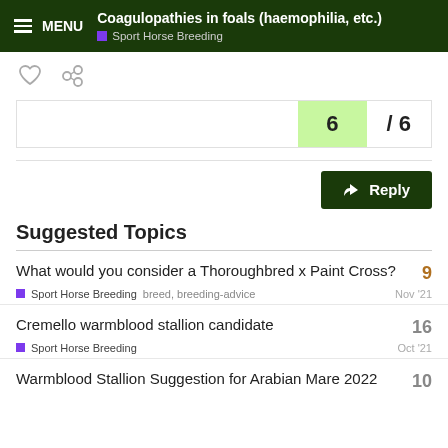Coagulopathies in foals (haemophilia, etc.) — Sport Horse Breeding
[Figure (other): Like (heart) and link icons]
6 / 6
Reply
Suggested Topics
What would you consider a Thoroughbred x Paint Cross?
9
Sport Horse Breeding   breed, breeding-advice   Nov '21
Cremello warmblood stallion candidate
16
Sport Horse Breeding   Oct '21
Warmblood Stallion Suggestion for Arabian Mare 2022
10